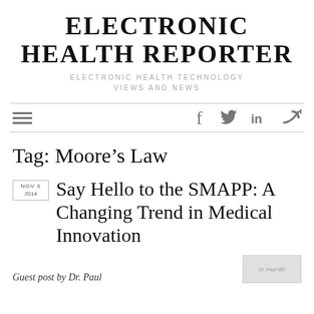ELECTRONIC HEALTH REPORTER
ELECTRONIC HEALTH TECHNOLOGY VIEWS AND NEWS
Tag: Moore’s Law
NOV 6 2014
Say Hello to the SMAPP: A Changing Trend in Medical Innovation
Guest post by Dr. Paul